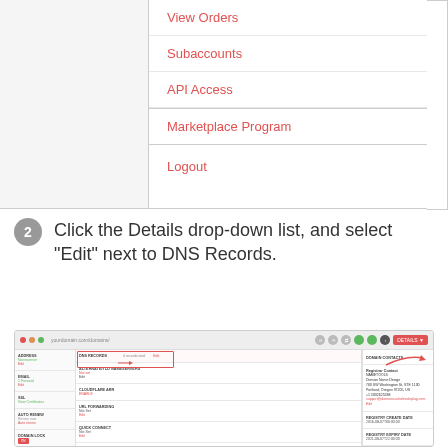[Figure (screenshot): Dropdown menu showing options: View Orders, Subaccounts, API Access, Marketplace Program, Logout with salmon/red colored text on white background]
Click the Details drop-down list, and select "Edit" next to DNS Records.
[Figure (screenshot): Domain management interface showing DNS Records section highlighted with a red box and arrow pointing to Details button, with columns for domain settings, email, SSL, auto renew, domain lock, API access, WHOIS, DNS records, cloudflare, URL forwarding, quick connect, GLUE records, domain contacts, and registrar contact information]